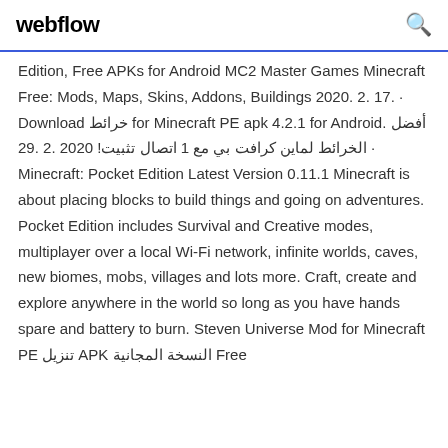webflow
Edition, Free APKs for Android MC2 Master Games Minecraft Free: Mods, Maps, Skins, Addons, Buildings 2020. 2. 17. · Download خرائط for Minecraft PE apk 4.2.1 for Android. أفضل الخرائط لماين كرافت بي مع 1 اتصال تثبيت! 2020 .2 .29 · Minecraft: Pocket Edition Latest Version 0.11.1 Minecraft is about placing blocks to build things and going on adventures. Pocket Edition includes Survival and Creative modes, multiplayer over a local Wi-Fi network, infinite worlds, caves, new biomes, mobs, villages and lots more. Craft, create and explore anywhere in the world so long as you have hands spare and battery to burn. Steven Universe Mod for Minecraft PE تنزيل APK النسخة المجانية Free